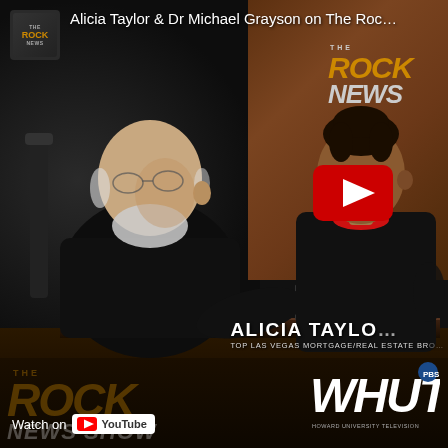[Figure (screenshot): YouTube video thumbnail showing two people seated at a desk in a TV studio. A man in black (Dr Michael Grayson) faces right toward a woman (Alicia Taylor) in a black outfit with red collar. The Rock News logo appears in the upper right of the video frame. A YouTube play button overlay is shown. Lower-third text reads 'ALICIA TAYLO[R] / TOP LAS VEGAS MORTGAGE/REAL ESTATE BRO[KER]'. The video title reads 'Alicia Taylor & Dr Michael Grayson on The Roc[k]'. A small channel avatar is in the top left. The bottom bar shows The Rock News logo, 'Watch on YouTube' button, and WHUT (Howard University Television) logo.]